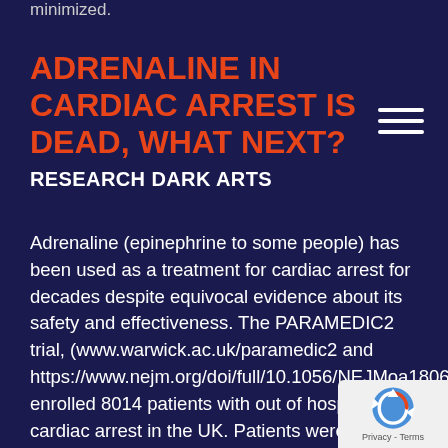minimized.
ADRENALINE IN CARDIAC ARREST IS DEAD, WHAT NEXT?
RESEARCH DARK ARTS
Adrenaline (epinephrine to some people) has been used as a treatment for cardiac arrest for decades despite equivocal evidence about its safety and effectiveness. The PARAMEDIC2 trial, (www.warwick.ac.uk/paramedic2 and https://www.nejm.org/doi/full/10.1056/NEJMoa1806842) enrolled 8014 patients with out of hospital cardiac arrest in the UK. Patients were randomized to receive standard dose adrenaline (1mg every 3-5 minutes) or placebo. The trial showed that adrenaline was effective at restarting the heart and
[Figure (logo): reCAPTCHA badge with Privacy - Terms text]